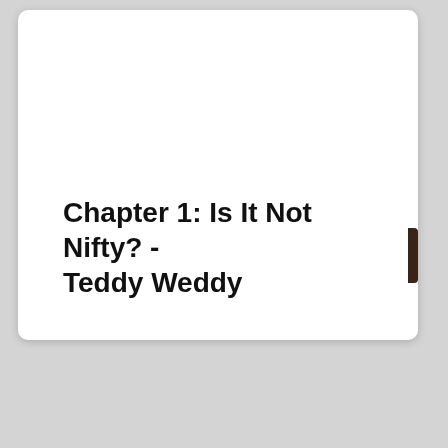Chapter 1: Is It Not Nifty? - Teddy Weddy